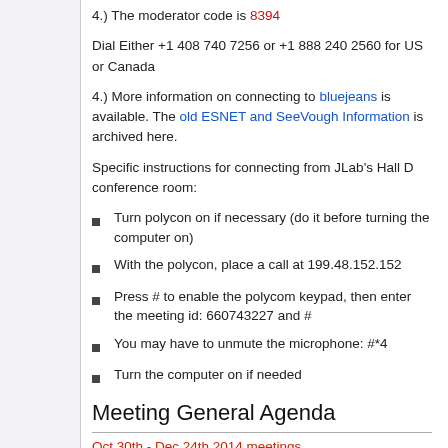4.) The moderator code is 8394
Dial Either +1 408 740 7256 or +1 888 240 2560 for US or Canada
4.) More information on connecting to bluejeans is available. The old ESNET and SeeVough Information is archived here.
Specific instructions for connecting from JLab's Hall D conference room:
Turn polycon on if necessary (do it before turning the computer on)
With the polycon, place a call at 199.48.152.152
Press # to enable the polycom keypad, then enter the meeting id: 660743227 and #
You may have to unmute the microphone: #*4
Turn the computer on if needed
Meeting General Agenda
Oct 30th - Dec 24th 2014 meetings
Report relevant updates from 7:50 and